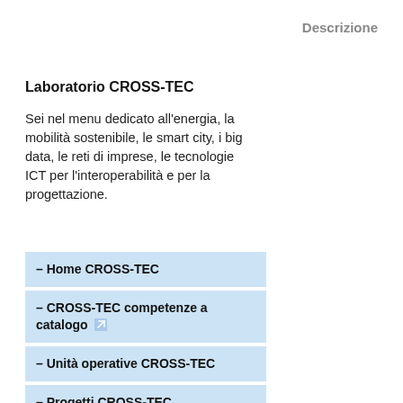Descrizione
Laboratorio CROSS-TEC
Sei nel menu dedicato all'energia, la mobilità sostenibile, le smart city, i big data, le reti di imprese, le tecnologie ICT per l'interoperabilità e per la progettazione.
– Home CROSS-TEC
– CROSS-TEC competenze a catalogo
– Unità operative CROSS-TEC
– Progetti CROSS-TEC
– Risultati disponibili